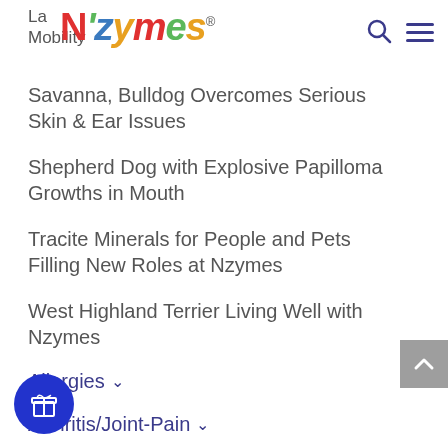La... Mobility — Nzymes logo header with search and menu icons
Savanna, Bulldog Overcomes Serious Skin & Ear Issues
Shepherd Dog with Explosive Papilloma Growths in Mouth
Tracite Minerals for People and Pets Filling New Roles at Nzymes
West Highland Terrier Living Well with Nzymes
Allergies
Arthritis/Joint-Pain
Care & Upkeep
estive Disorders
Growth Disorders